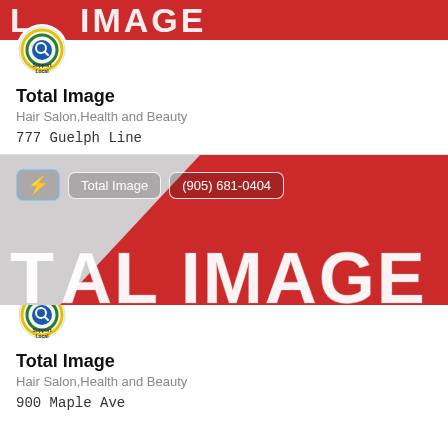[Figure (photo): Red and white 'TOTAL IMAGE' banner/sign photo cropped at top]
[Figure (logo): Support Local circular badge logo for Total Image listing 1]
Total Image
Hair Salon,Health and Beauty
777 Guelph Line
[Figure (photo): Red and white 'TOTAL IMAGE' sign photo with action buttons overlay: lightning bolt icon, 'Total Image', '(905) 681-0404']
[Figure (logo): Support Local circular badge logo for Total Image listing 2]
Total Image
Hair Salon,Health and Beauty
900 Maple Ave